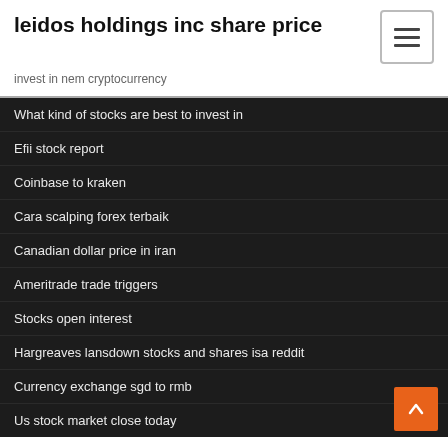leidos holdings inc share price
invest in nem cryptocurrency
What kind of stocks are best to invest in
Efii stock report
Coinbase to kraken
Cara scalping forex terbaik
Canadian dollar price in iran
Ameritrade trade triggers
Stocks open interest
Hargreaves lansdown stocks and shares isa reddit
Currency exchange sgd to rmb
Us stock market close today